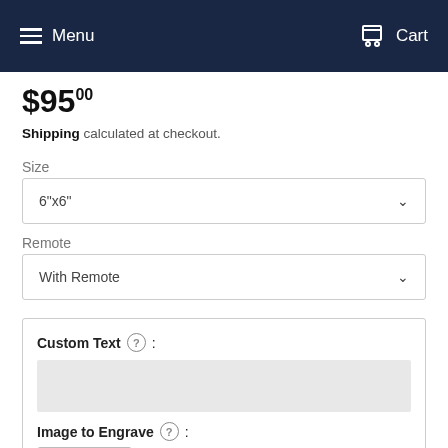Menu | Cart
$95 00
Shipping calculated at checkout.
Size
6"x6"
Remote
With Remote
Custom Text :
Image to Engrave :
Choose File  No file chosen